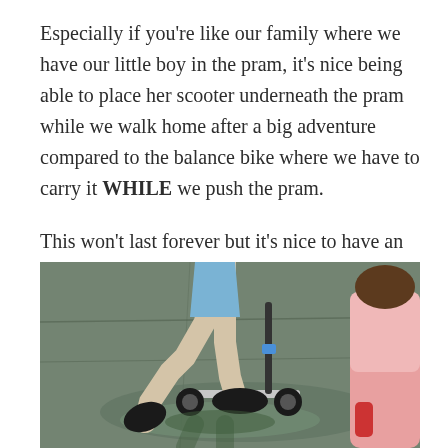Especially if you're like our family where we have our little boy in the pram, it's nice being able to place her scooter underneath the pram while we walk home after a big adventure compared to the balance bike where we have to carry it WHILE we push the pram.
This won't last forever but it's nice to have an easy out when the need arises.
[Figure (photo): Child riding a scooter on wet pavement, wearing black crocs, with another child in a pink shirt visible on the right edge of the frame.]